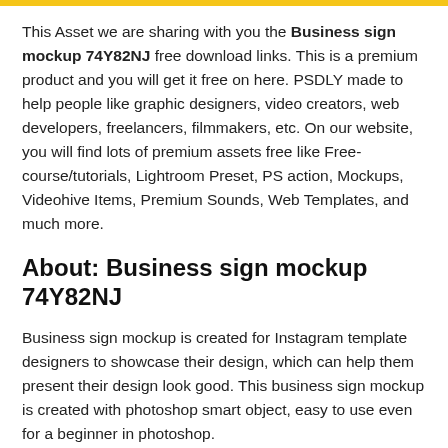This Asset we are sharing with you the Business sign mockup 74Y82NJ free download links. This is a premium product and you will get it free on here. PSDLY made to help people like graphic designers, video creators, web developers, freelancers, filmmakers, etc. On our website, you will find lots of premium assets free like Free-course/tutorials, Lightroom Preset, PS action, Mockups, Videohive Items, Premium Sounds, Web Templates, and much more.
About: Business sign mockup 74Y82NJ
Business sign mockup is created for Instagram template designers to showcase their design, which can help them present their design look good. This business sign mockup is created with photoshop smart object, easy to use even for a beginner in photoshop.